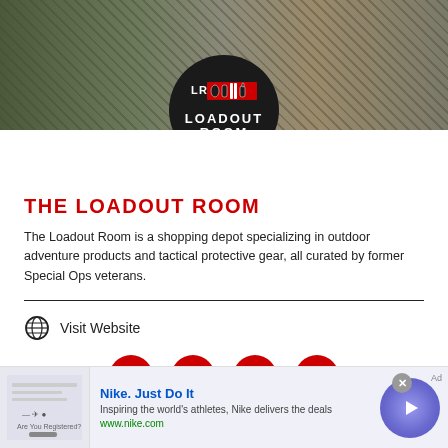[Figure (logo): Loadout Room logo - circular black badge with red and white tactical icons and text LOADOUT ROOM on a military/tactical background banner]
THE LOADOUT ROOM
The Loadout Room is a shopping depot specializing in outdoor adventure products and tactical protective gear, all curated by former Special Ops veterans.
Visit Website
[Figure (illustration): Social media icons: Facebook, Twitter, YouTube, Instagram - all in red circles]
[Figure (other): Advertisement banner for Nike - Nike. Just Do It. Inspiring the world's athletes, Nike delivers the deals. www.nike.com]